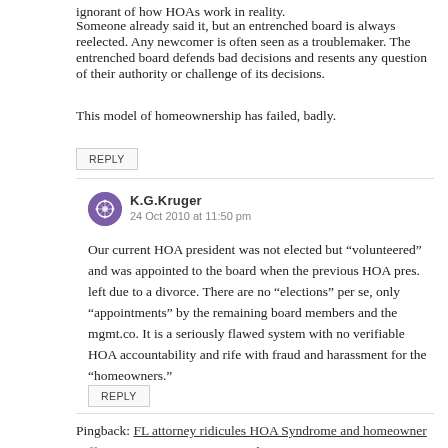ignorant of how HOAs work in reality.
Someone already said it, but an entrenched board is always reelected. Any newcomer is often seen as a troublemaker. The entrenched board defends bad decisions and resents any question of their authority or challenge of its decisions.
This model of homeownership has failed, badly.
REPLY
K.G.Kruger
24 Oct 2010 at 11:50 pm
Our current HOA president was not elected but "volunteered" and was appointed to the board when the previous HOA pres. left due to a divorce. There are no "elections" per se, only "appointments" by the remaining board members and the mgmt.co. It is a seriously flawed system with no verifiable HOA accountability and rife with fraud and harassment for the "homeowners."
REPLY
Pingback: FL attorney ridicules HOA Syndrome and homeowner sufferings << HOA Constitutional Government